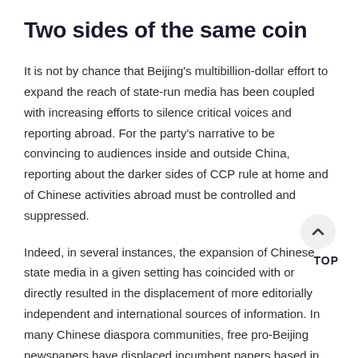Two sides of the same coin
It is not by chance that Beijing’s multibillion-dollar effort to expand the reach of state-run media has been coupled with increasing efforts to silence critical voices and reporting abroad. For the party’s narrative to be convincing to audiences inside and outside China, reporting about the darker sides of CCP rule at home and of Chinese activities abroad must be controlled and suppressed.
Indeed, in several instances, the expansion of Chinese state media in a given setting has coincided with or directly resulted in the displacement of more editorially independent and international sources of information. In many Chinese diaspora communities, free pro-Beijing newspapers have displaced incumbent papers based in Taiwan and Hong Kong. In 2008